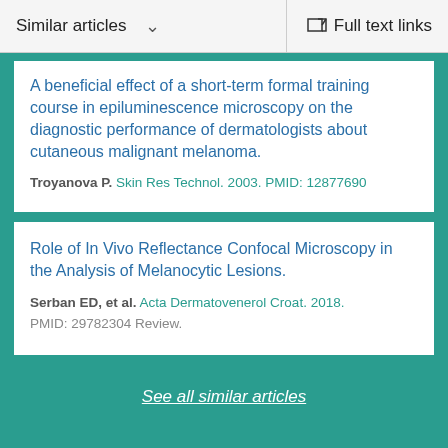Similar articles   ∨   Full text links
A beneficial effect of a short-term formal training course in epiluminescence microscopy on the diagnostic performance of dermatologists about cutaneous malignant melanoma.
Troyanova P. Skin Res Technol. 2003. PMID: 12877690
Role of In Vivo Reflectance Confocal Microscopy in the Analysis of Melanocytic Lesions.
Serban ED, et al. Acta Dermatovenerol Croat. 2018.
PMID: 29782304 Review.
See all similar articles